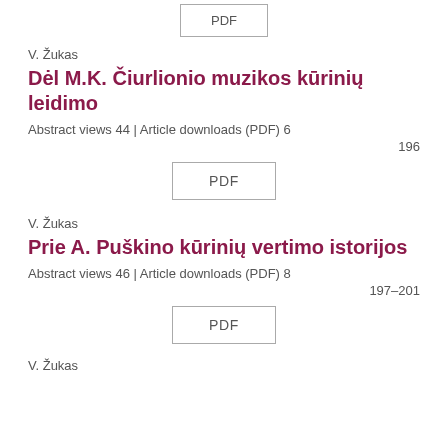[Figure (other): PDF button (partial, top of page)]
V. Žukas
Dėl M.K. Čiurlionio muzikos kūrinių leidimo
Abstract views 44 | Article downloads (PDF) 6
196
[Figure (other): PDF button]
V. Žukas
Prie A. Puškino kūrinių vertimo istorijos
Abstract views 46 | Article downloads (PDF) 8
197–201
[Figure (other): PDF button]
V. Žukas